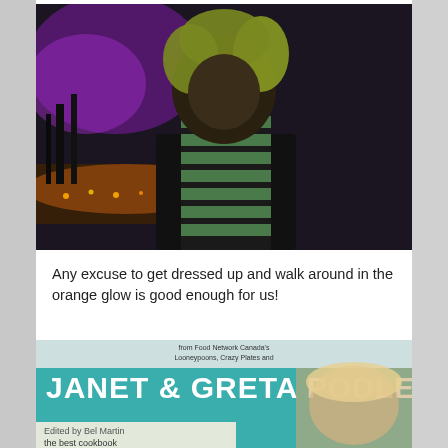[Figure (photo): A person with curly blonde/green hair wearing a dark coat and green-and-black striped top, standing outdoors at night with purple and orange lights in the background.]
Any excuse to get dressed up and walk around in the orange glow is good enough for us!
[Figure (photo): A book cover showing 'JANET & GRETA PODLESKI' with text from Food Network Canada, Crazy Plates, Looneypoons. Partial text reads 'the best cookbook'.]